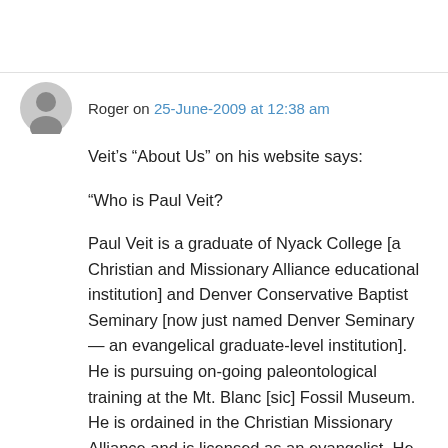Roger on 25-June-2009 at 12:38 am
Veit's “About Us” on his website says:
“Who is Paul Veit?
Paul Veit is a graduate of Nyack College [a Christian and Missionary Alliance educational institution] and Denver Conservative Baptist Seminary [now just named Denver Seminary — an evangelical graduate-level institution]. He is pursuing on-going paleontological training at the Mt. Blanc [sic] Fossil Museum. He is ordained in the Christian Missionary Alliance and is licensed as an evangelist. He is the Founder and Director of Declare God’s Wonders, Inc., an evangelistic